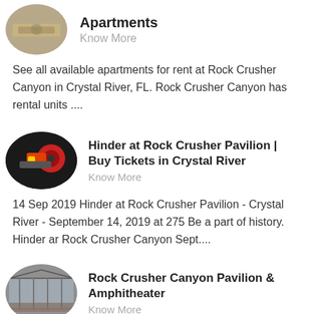[Figure (photo): Oval/elliptical image of industrial equipment (partial, top of page)]
Apartments
Know More
See all available apartments for rent at Rock Crusher Canyon in Crystal River, FL. Rock Crusher Canyon has rental units ....
[Figure (photo): Oval/elliptical image of a red and black rock crusher machine]
Hinder at Rock Crusher Pavilion | Buy Tickets in Crystal River
Know More
14 Sep 2019 Hinder at Rock Crusher Pavilion - Crystal River - September 14, 2019 at 275 Be a part of history. Hinder ar Rock Crusher Canyon Sept....
[Figure (photo): Oval/elliptical image of Rock Crusher Canyon Pavilion interior/amphitheater]
Rock Crusher Canyon Pavilion & Amphitheater
Know More